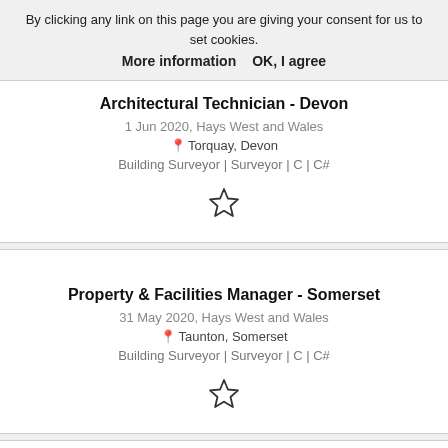By clicking any link on this page you are giving your consent for us to set cookies. More information   OK, I agree
Architectural Technician - Devon
1 Jun 2020, Hays West and Wales
Torquay, Devon
Building Surveyor | Surveyor | C | C#
Property & Facilities Manager - Somerset
31 May 2020, Hays West and Wales
Taunton, Somerset
Building Surveyor | Surveyor | C | C#